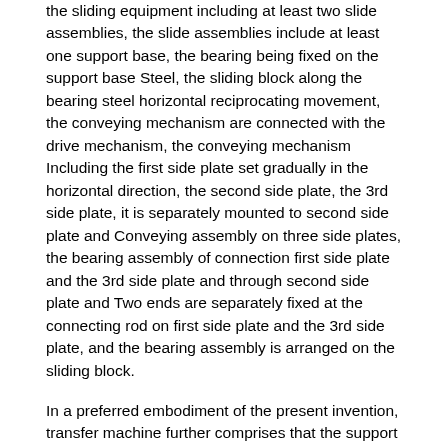the sliding equipment including at least two slide assemblies, the slide assemblies include at least one support base, the bearing being fixed on the support base Steel, the sliding block along the bearing steel horizontal reciprocating movement, the conveying mechanism are connected with the drive mechanism, the conveying mechanism Including the first side plate set gradually in the horizontal direction, the second side plate, the 3rd side plate, it is separately mounted to second side plate and Conveying assembly on three side plates, the bearing assembly of connection first side plate and the 3rd side plate and through second side plate and Two ends are separately fixed at the connecting rod on first side plate and the 3rd side plate, and the bearing assembly is arranged on the sliding block.
In a preferred embodiment of the present invention, transfer machine further comprises that the support base includes pedestal, installed in described Supporting plate on pedestal, the lower end of the pedestal is provided with the first groove, and the upper end of the supporting plate is provided with the second groove.
In a preferred embodiment of the present invention,